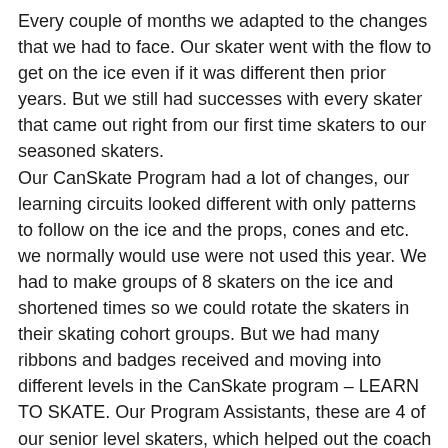Every couple of months we adapted to the changes that we had to face. Our skater went with the flow to get on the ice even if it was different then prior years. But we still had successes with every skater that came out right from our first time skaters to our seasoned skaters.
Our CanSkate Program had a lot of changes, our learning circuits looked different with only patterns to follow on the ice and the props, cones and etc. we normally would use were not used this year. We had to make groups of 8 skaters on the ice and shortened times so we could rotate the skaters in their skating cohort groups. But we had many ribbons and badges received and moving into different levels in the CanSkate program – LEARN TO SKATE. Our Program Assistants, these are 4 of our senior level skaters, which helped out the coach and skaters. We went from all four helping to one, then a rotation schedule was applied.
Our STAR Skate Program as well had many changes and challenges from our skaters, some of these skater normally skate an average of 8 hour a week. They saw changes in less skating time and put into smaller skating cohorts as well. But they were so glad to be on the ice to do something they love.